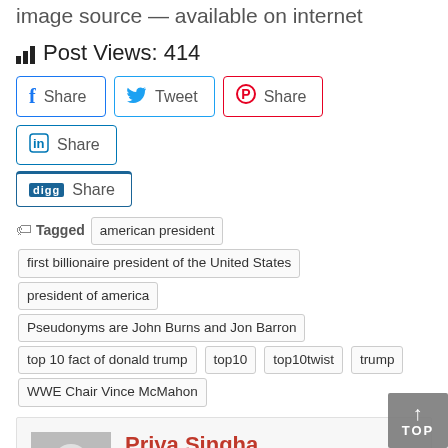image source — available on internet
Post Views: 414
Facebook Share | Tweet | Pinterest Share | LinkedIn Share | Digg Share
Tagged  american president  first billionaire president of the United States  president of america  Pseudonyms are John Burns and Jon Barron  top 10 fact of donald trump  top10  top10twist  trump  WWE Chair Vince McMahon
Priya Singha
I am a blogger, I've been a blogger for over two year, and I enjoy it more every day. I have a passion for writing, my calling; in my opinion, you can't be successful at something you don't enjoy, so I am blessed to be something that I love. My Favourite niche of writ